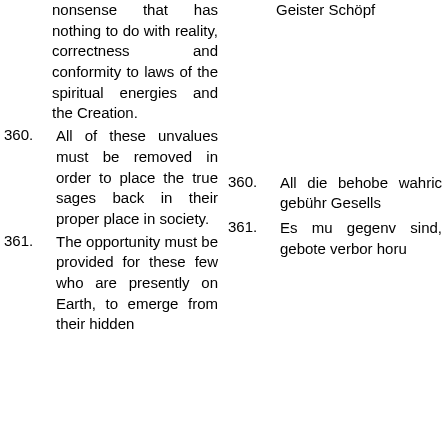nonsense that has nothing to do with reality, correctness and conformity to laws of the spiritual energies and the Creation.
360. All of these unvalues must be removed in order to place the true sages back in their proper place in society.
361. The opportunity must be provided for these few who are presently on Earth, to emerge from their hidden
Geister Schöpf
360. All die behobe wahric gebühr Gesells
361. Es mu gegenv sind, gebote verbor horu